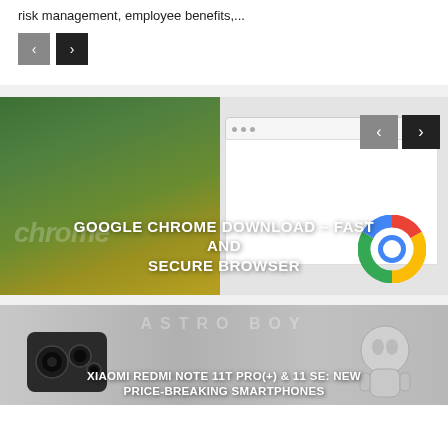risk management, employee benefits,...
[Figure (other): Navigation previous/next buttons (gray and black)]
[Figure (screenshot): Google Chrome Download – Fast and Secure Browser promotional banner with Chrome logo and browser screenshot]
[Figure (photo): Xiaomi Redmi Note 11T Pro(+) & 11 SE: New Price-Breaking Smartphones promotional image with phone hardware]